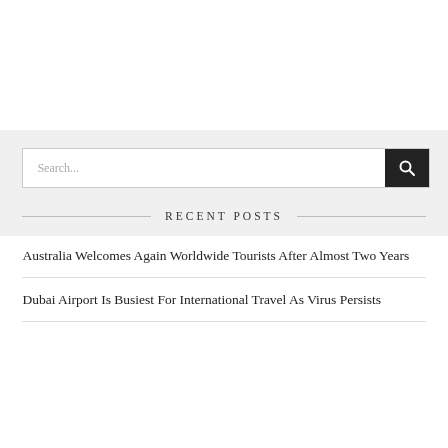[Figure (other): Search bar with text input field showing 'Search...' placeholder and a dark search button with magnifying glass icon]
RECENT POSTS
Australia Welcomes Again Worldwide Tourists After Almost Two Years
Dubai Airport Is Busiest For International Travel As Virus Persists